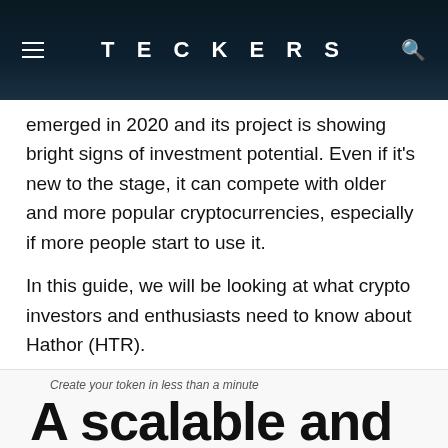TECKERS
emerged in 2020 and its project is showing bright signs of investment potential. Even if it's new to the stage, it can compete with older and more popular cryptocurrencies, especially if more people start to use it.
In this guide, we will be looking at what crypto investors and enthusiasts need to know about Hathor (HTR).
Create your token in less than a minute
A scalable and